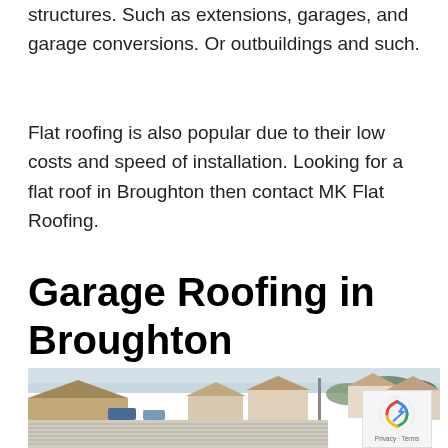structures. Such as extensions, garages, and garage conversions. Or outbuildings and such.
Flat roofing is also popular due to their low costs and speed of installation. Looking for a flat roof in Broughton then contact MK Flat Roofing.
Garage Roofing in Broughton
[Figure (photo): Aerial/elevated view of a residential suburban neighbourhood showing rooftops, houses, parked cars and trees under a cloudy sky. A flat roof with corrugated/metal sheeting is visible in the foreground.]